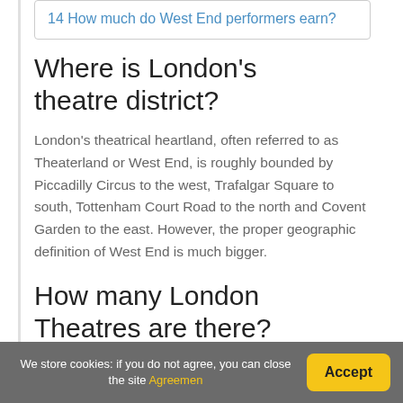14 How much do West End performers earn?
Where is London's theatre district?
London's theatrical heartland, often referred to as Theaterland or West End, is roughly bounded by Piccadilly Circus to the west, Trafalgar Square to south, Tottenham Court Road to the north and Covent Garden to the east. However, the proper geographic definition of West End is much bigger.
How many London Theatres are there?
We store cookies: if you do not agree, you can close the site Agreemen